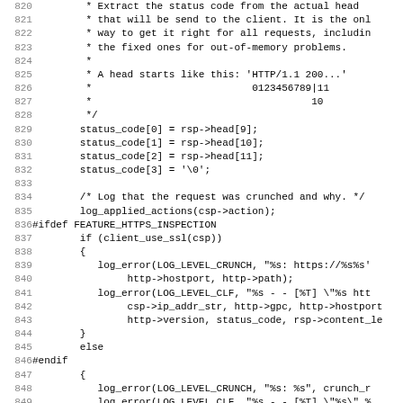[Figure (other): Source code listing lines 820-851 in C/C++ with line numbers on the left and code on the right, showing status code extraction and logging logic]